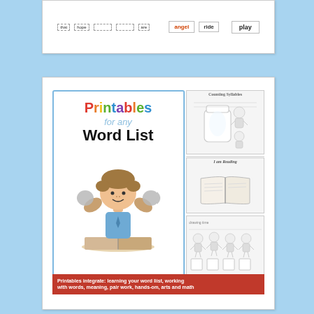[Figure (illustration): Top card showing word/flash cards including dashed-border word cards and sight word cards with words like 'angel', 'ride', 'play']
[Figure (illustration): Educational product cover image for 'Printables for any Word List' showing colorful text title, a cartoon boy reading a book, and worksheet previews on the right showing counting syllables, I am reading worksheet, and drawing activities. Red banner at bottom reads: Printables integrate: learning your word list, working with words, meaning, pair work, hands-on, arts and math]